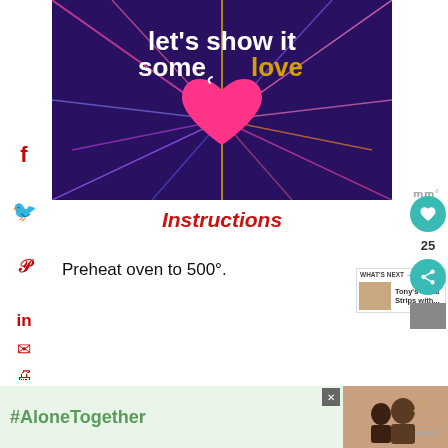[Figure (illustration): Dark purple/navy background with colorful radiating lines and a pink heart in the center. White bold text reads 'let's show it some' and gold text reads 'love'.]
Instructions
Preheat oven to 500°.
[Figure (infographic): Green advertisement banner with '#AloneTogether' text and a photo of people waving.]